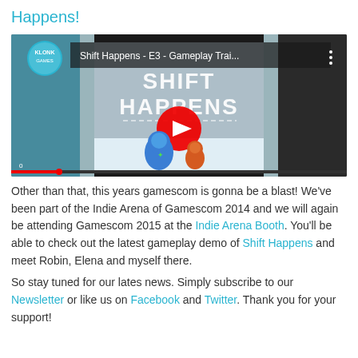Happens!
[Figure (screenshot): YouTube video thumbnail for 'Shift Happens - E3 - Gameplay Trai...' by Klonk Games, showing two cartoon blob characters inside a glass chamber with 'SHIFT HAPPENS' text and a YouTube play button overlay.]
Other than that, this years gamescom is gonna be a blast! We've been part of the Indie Arena of Gamescom 2014 and we will again be attending Gamescom 2015 at the Indie Arena Booth. You'll be able to check out the latest gameplay demo of Shift Happens and meet Robin, Elena and myself there.
So stay tuned for our lates news. Simply subscribe to our Newsletter or like us on Facebook and Twitter. Thank you for your support!